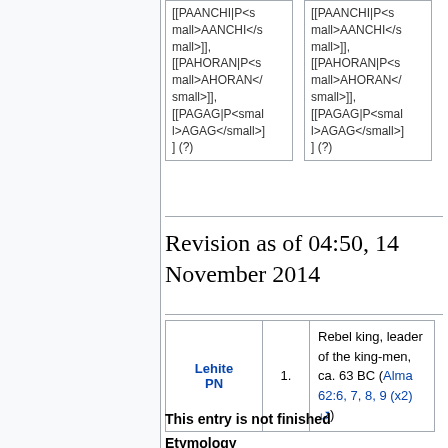| [[PAANCHI|P<small>AANCHI</small>]], [[PAHORAN|P<small>AHORAN</small>]], [[PAGAG|P<small>AGAG</small>]] (?) |
| [[PAANCHI|P<small>AANCHI</small>]], [[PAHORAN|P<small>AHORAN</small>]], [[PAGAG|P<small>AGAG</small>]] (?) |
Revision as of 04:50, 14 November 2014
| Lehite PN | 1. | Rebel king, leader of the king-men, ca. 63 BC (Alma 62:6, 7, 8, 9 (x2)) |
| --- | --- | --- |
This entry is not finished
Etymology